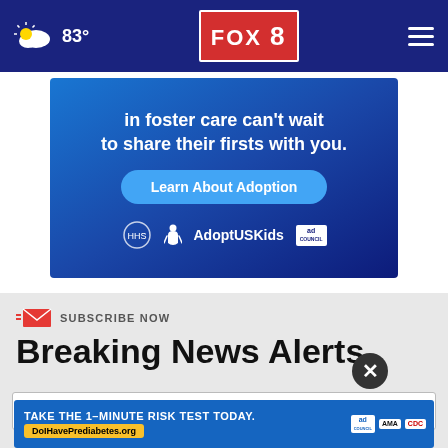FOX 8 — 83°
[Figure (infographic): Adoption ad banner: 'in foster care can't wait to share their firsts with you. Learn About Adoption' with HHS, AdoptUSKids, and Ad Council logos on blue background]
SUBSCRIBE NOW
Breaking News Alerts
[Figure (infographic): Prediabetes ad: 'TAKE THE 1-MINUTE RISK TEST TODAY. DoIHavePrediabetes.org' with Ad Council, AMA, and CDC logos on blue background]